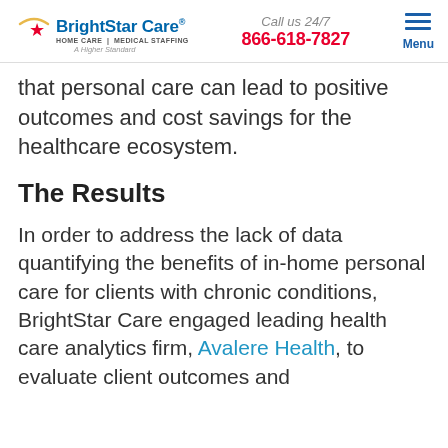BrightStar Care | HOME CARE | MEDICAL STAFFING | A Higher Standard | Call us 24/7 | 866-618-7827 | Menu
that personal care can lead to positive outcomes and cost savings for the healthcare ecosystem.
The Results
In order to address the lack of data quantifying the benefits of in-home personal care for clients with chronic conditions, BrightStar Care engaged leading health care analytics firm, Avalere Health, to evaluate client outcomes and cost benefits of in-home personal care.